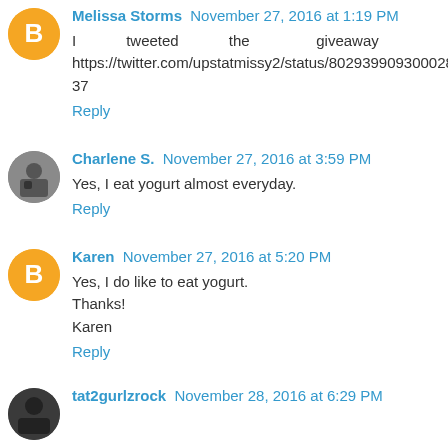Melissa Storms November 27, 2016 at 1:19 PM
I tweeted the giveaway https://twitter.com/upstatmissy2/status/80293990930002895 37
Reply
Charlene S. November 27, 2016 at 3:59 PM
Yes, I eat yogurt almost everyday.
Reply
Karen November 27, 2016 at 5:20 PM
Yes, I do like to eat yogurt.
Thanks!
Karen
Reply
tat2gurlzrock November 28, 2016 at 6:29 PM